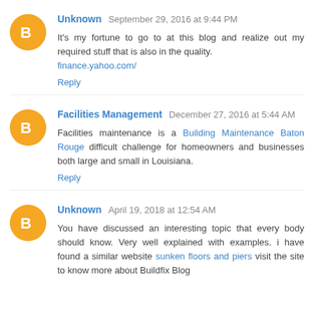Unknown September 29, 2016 at 9:44 PM
It's my fortune to go to at this blog and realize out my required stuff that is also in the quality.
finance.yahoo.com/
Reply
Facilities Management December 27, 2016 at 5:44 AM
Facilities maintenance is a Building Maintenance Baton Rouge difficult challenge for homeowners and businesses both large and small in Louisiana.
Reply
Unknown April 19, 2018 at 12:54 AM
You have discussed an interesting topic that every body should know. Very well explained with examples. i have found a similar website sunken floors and piers visit the site to know more about Buildfix Blog